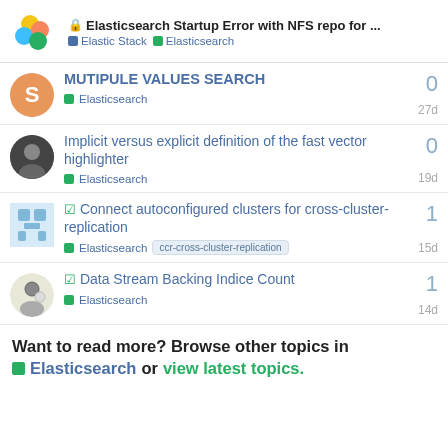Elasticsearch Startup Error with NFS repo for ... | Elastic Stack | Elasticsearch
MUTIPULE VALUES SEARCH — Elasticsearch — 27d — 0 replies
Implicit versus explicit definition of the fast vector highlighter — Elasticsearch — 19d — 0 replies
Connect autoconfigured clusters for cross-cluster-replication — Elasticsearch — ccr-cross-cluster-replication — 15d — 1 reply
Data Stream Backing Indice Count — Elasticsearch — 14d — 1 reply
Want to read more? Browse other topics in Elasticsearch or view latest topics.